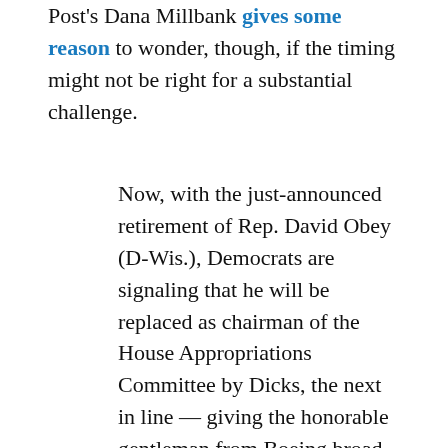Post's Dana Millbank gives some reason to wonder, though, if the timing might not be right for a substantial challenge.
Now, with the just-announced retirement of Rep. David Obey (D-Wis.), Democrats are signaling that he will be replaced as chairman of the House Appropriations Committee by Dicks, the next in line — giving the honorable gentleman from Boeing broad control of about $1.4 trillion in annual discretionary spending. It's an odd message the Democrats are sending: Return us to power, and we'll return to business as usual.